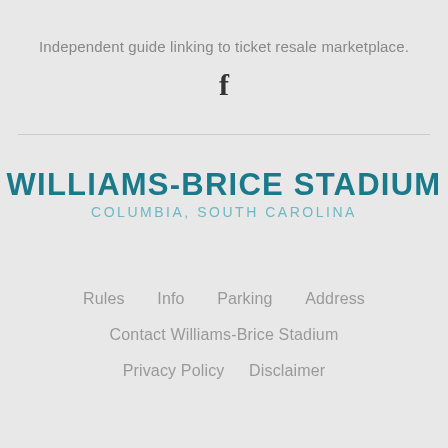Independent guide linking to ticket resale marketplace.
[Figure (logo): Facebook logo icon 'f' in dark color]
WILLIAMS-BRICE STADIUM
COLUMBIA, SOUTH CAROLINA
Rules   Info   Parking   Address
Contact Williams-Brice Stadium
Privacy Policy   Disclaimer